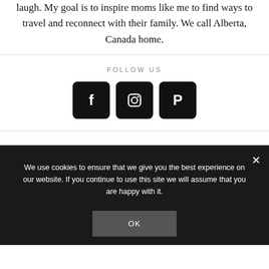laugh. My goal is to inspire moms like me to find ways to travel and reconnect with their family. We call Alberta, Canada home.
FOLLOW US
[Figure (infographic): Three social media icons: Facebook (f), Instagram (camera), and Pinterest (P), each as white icons on black rounded-square buttons]
We use cookies to ensure that we give you the best experience on our website. If you continue to use this site we will assume that you are happy with it.
OK